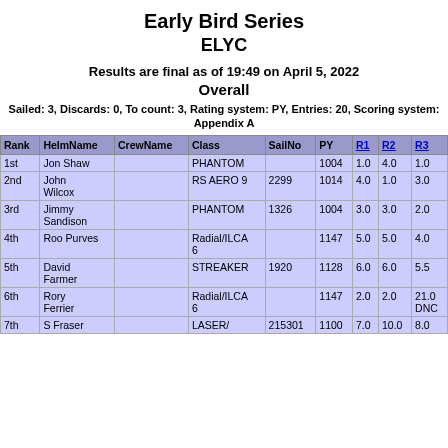Early Bird Series
ELYC
Results are final as of 19:49 on April 5, 2022
Overall
Sailed: 3, Discards: 0, To count: 3, Rating system: PY, Entries: 20, Scoring system: Appendix A
| Rank | HelmName | CrewName | Class | SailNo | PY | R1 | R2 | R3 |
| --- | --- | --- | --- | --- | --- | --- | --- | --- |
| 1st | Jon Shaw |  | PHANTOM |  | 1004 | 1.0 | 4.0 | 1.0 |
| 2nd | John Wilcox |  | RS AERO 9 | 2299 | 1014 | 4.0 | 1.0 | 3.0 |
| 3rd | Jimmy Sandison |  | PHANTOM | 1326 | 1004 | 3.0 | 3.0 | 2.0 |
| 4th | Roo Purves |  | Radial/ILCA 6 |  | 1147 | 5.0 | 5.0 | 4.0 |
| 5th | David Farmer |  | STREAKER | 1920 | 1128 | 6.0 | 6.0 | 5.5 |
| 6th | Rory Ferrier |  | Radial/ILCA 6 |  | 1147 | 2.0 | 2.0 | 21.0 DNC |
| 7th | S Fraser |  | LASER/ | 215301 | 1100 | 7.0 | 10.0 | 8.0 |